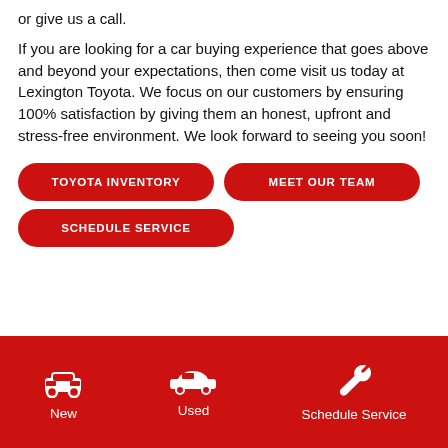or give us a call.
If you are looking for a car buying experience that goes above and beyond your expectations, then come visit us today at Lexington Toyota. We focus on our customers by ensuring 100% satisfaction by giving them an honest, upfront and stress-free environment. We look forward to seeing you soon!
TOYOTA INVENTORY
MEET OUR TEAM
SCHEDULE SERVICE
New  Used  Schedule Service